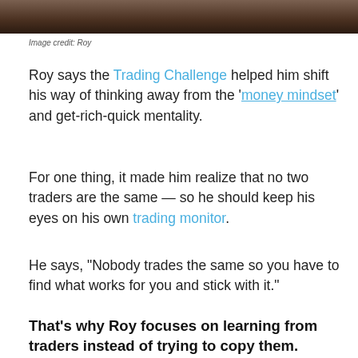[Figure (photo): Partial photo strip at top of page, dark warm tones]
Image credit: Roy
Roy says the Trading Challenge helped him shift his way of thinking away from the 'money mindset' and get-rich-quick mentality.
For one thing, it made him realize that no two traders are the same — so he should keep his eyes on his own trading monitor.
He says, “Nobody trades the same so you have to find what works for you and stick with it.”
That’s why Roy focuses on learning from traders instead of trying to copy them.